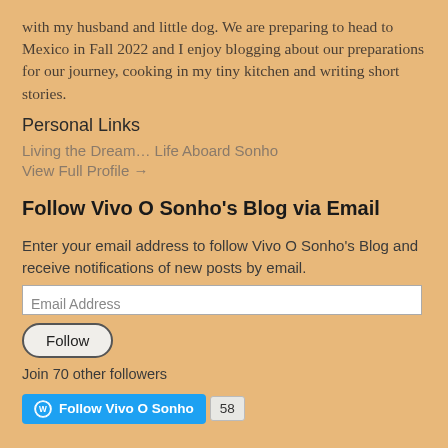with my husband and little dog. We are preparing to head to Mexico in Fall 2022 and I enjoy blogging about our preparations for our journey, cooking in my tiny kitchen and writing short stories.
Personal Links
Living the Dream… Life Aboard Sonho
View Full Profile →
Follow Vivo O Sonho's Blog via Email
Enter your email address to follow Vivo O Sonho's Blog and receive notifications of new posts by email.
Email Address
Follow
Join 70 other followers
[Figure (screenshot): WordPress Follow Vivo O Sonho button (blue) with follower count badge showing 58]
Follow Us on Facebook